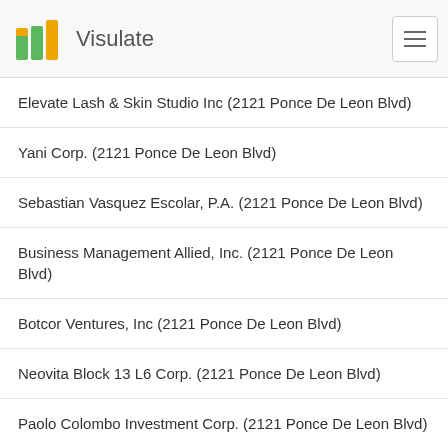Visulate
Elevate Lash & Skin Studio Inc (2121 Ponce De Leon Blvd)
Yani Corp. (2121 Ponce De Leon Blvd)
Sebastian Vasquez Escolar, P.A. (2121 Ponce De Leon Blvd)
Business Management Allied, Inc. (2121 Ponce De Leon Blvd)
Botcor Ventures, Inc (2121 Ponce De Leon Blvd)
Neovita Block 13 L6 Corp. (2121 Ponce De Leon Blvd)
Paolo Colombo Investment Corp. (2121 Ponce De Leon Blvd)
Edasi Venture Capital Corp. (2121 Ponce De Leon Blvd)
Golden Hammer Designers Group, Inc. (2121 Ponce De Leon Blvd)